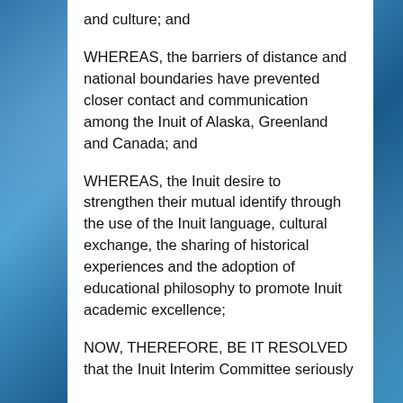and culture; and
WHEREAS, the barriers of distance and national boundaries have prevented closer contact and communication among the Inuit of Alaska, Greenland and Canada; and
WHEREAS, the Inuit desire to strengthen their mutual identify through the use of the Inuit language, cultural exchange, the sharing of historical experiences and the adoption of educational philosophy to promote Inuit academic excellence;
NOW, THEREFORE, BE IT RESOLVED that the Inuit Interim Committee seriously